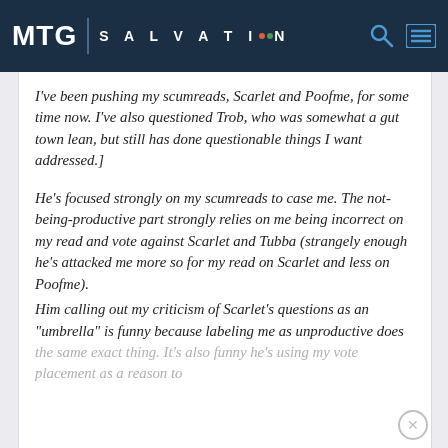MTG SALVATION
I've been pushing my scumreads, Scarlet and Poofme, for some time now. I've also questioned Trob, who was somewhat a gut town lean, but still has done questionable things I want addressed.]

He's focused strongly on my scumreads to case me. The not-being-productive part strongly relies on me being incorrect on my read and vote against Scarlet and Tubba (strangely enough he's attacked me more so for my read on Scarlet and less on Poofme).
Him calling out my criticism of Scarlet's questions as an "umbrella" is funny because labeling me as unproductive does the same exact thing. It's also funny he's using my vote placement as a reason to